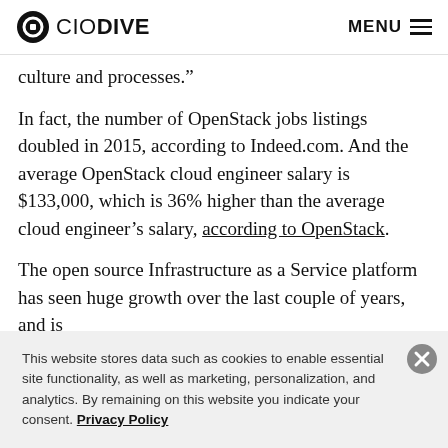CIO DIVE  MENU
culture and processes."
In fact, the number of OpenStack jobs listings doubled in 2015, according to Indeed.com. And the average OpenStack cloud engineer salary is $133,000, which is 36% higher than the average cloud engineer’s salary, according to OpenStack.
The open source Infrastructure as a Service platform has seen huge growth over the last couple of years, and is
This website stores data such as cookies to enable essential site functionality, as well as marketing, personalization, and analytics. By remaining on this website you indicate your consent. Privacy Policy